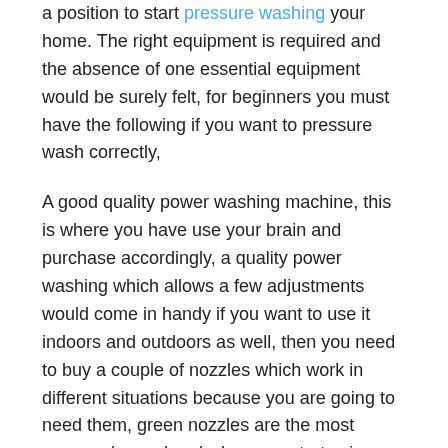a position to start pressure washing your home. The right equipment is required and the absence of one essential equipment would be surely felt, for beginners you must have the following if you want to pressure wash correctly,
A good quality power washing machine, this is where you have use your brain and purchase accordingly, a quality power washing which allows a few adjustments would come in handy if you want to use it indoors and outdoors as well, then you need to buy a couple of nozzles which work in different situations because you are going to need them, green nozzles are the most commonly used and when you start using a pressure washing machine you realize why that is so and why a number of different nozzles are used.
Once you have got the basic equipment right you should then focus on finding the right soaps and detergents, different soaps have very different properties and...